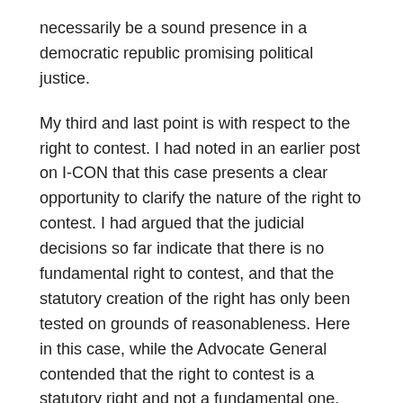necessarily be a sound presence in a democratic republic promising political justice.
My third and last point is with respect to the right to contest. I had noted in an earlier post on I-CON that this case presents a clear opportunity to clarify the nature of the right to contest. I had argued that the judicial decisions so far indicate that there is no fundamental right to contest, and that the statutory creation of the right has only been tested on grounds of reasonableness. Here in this case, while the Advocate General contended that the right to contest is a statutory right and not a fundamental one, the Court did not make any observations in this respect. It rather went on to directly examine the Ordinance's reasonableness (its consistence with Article 14). Surprisingly, there was no argument on the basis of Articles 21A and 45, where it is the State's obligation